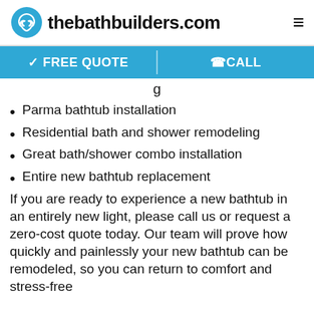thebathbuilders.com
FREE QUOTE
eCALL
Parma bathtub installation
Residential bath and shower remodeling
Great bath/shower combo installation
Entire new bathtub replacement
If you are ready to experience a new bathtub in an entirely new light, please call us or request a zero-cost quote today. Our team will prove how quickly and painlessly your new bathtub can be remodeled, so you can return to comfort and stress-free